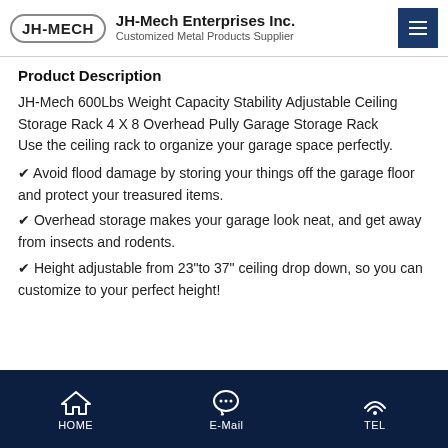JH-Mech Enterprises Inc. — Customized Metal Products Supplier
Product Description
JH-Mech 600Lbs Weight Capacity Stability Adjustable Ceiling Storage Rack 4 X 8 Overhead Pully Garage Storage Rack
Use the ceiling rack to organize your garage space perfectly.
✔ Avoid flood damage by storing your things off the garage floor and protect your treasured items.
✔ Overhead storage makes your garage look neat, and get away from insects and rodents.
✔ Height adjustable from 23"to 37" ceiling drop down, so you can customize to your perfect height!
HOME | E-Mail | TEL